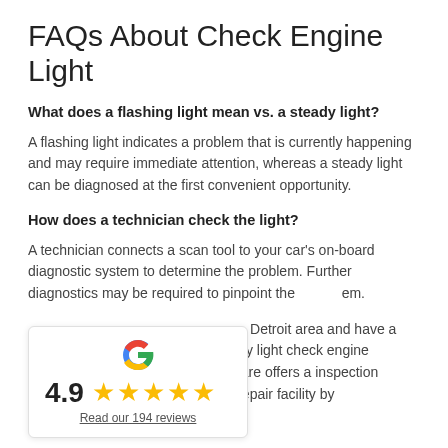FAQs About Check Engine Light
What does a flashing light mean vs. a steady light?
A flashing light indicates a problem that is currently happening and may require immediate attention, whereas a steady light can be diagnosed at the first convenient opportunity.
How does a technician check the light?
A technician connects a scan tool to your car's on-board diagnostic system to determine the problem. Further diagnostics may be required to pinpoint the problem. ~ Detroit area and have a ... ely light check engine ... Auto Care offers a inspection at our Warren ~ Detroit area auto repair facility by
[Figure (infographic): Google review widget showing 4.9 star rating with 5 yellow stars and a link to Read our 194 reviews]